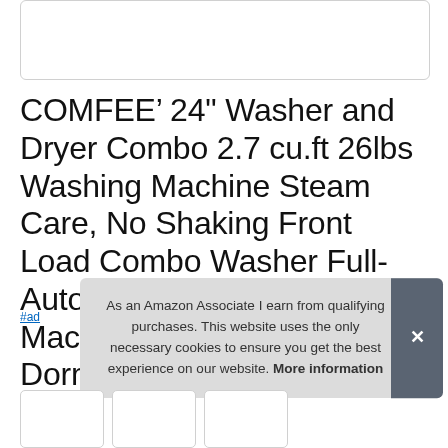[Figure (photo): Product image placeholder (white box with border)]
COMFEE' 24" Washer and Dryer Combo 2.7 cu.ft 26lbs Washing Machine Steam Care, No Shaking Front Load Combo Washer Full-Automatic Washing Machine, Overnight Dry, Dorm White
#ad
As an Amazon Associate I earn from qualifying purchases. This website uses the only necessary cookies to ensure you get the best experience on our website. More information
[Figure (photo): Product thumbnail images row at bottom]